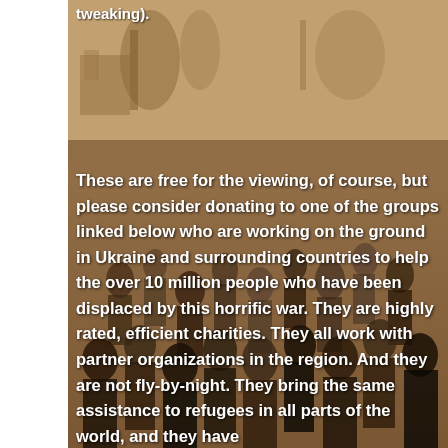[Figure (photo): Sepia-toned historical photograph showing a large crowd of people, possibly refugees or a community gathering, with buildings and trees in the background. Left side has a white margin/bar.]
tweaking).
These are free for the viewing, of course, but please consider donating to one of the groups linked below who are working on the ground in Ukraine and surrounding countries to help the over 10 million people who have been displaced by this horrific war. They are highly rated, efficient charities. They all work with partner organizations in the region. And they are not fly-by-night. They bring the same assistance to refugees in all parts of the world, and they have